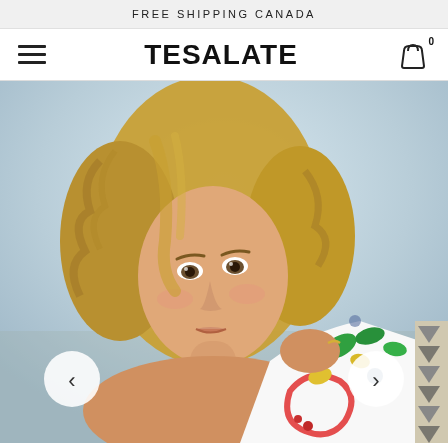FREE SHIPPING CANADA
TESALATE
[Figure (photo): A young woman with curly blonde hair looking over her shoulder, holding a colorful floral-print beach towel. Background is a light blue sky/beach setting. Navigation arrows (< and >) are overlaid on left and right sides of the image.]